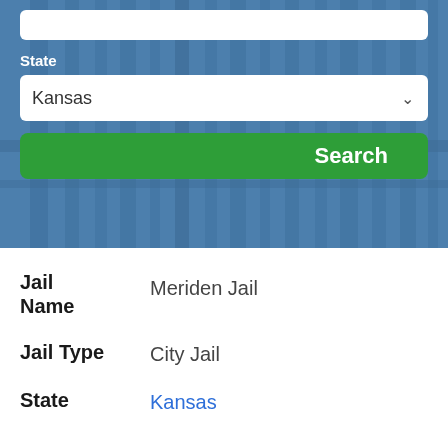[Figure (screenshot): Search form with State label, Kansas dropdown selector, and green Search button over a blue-tinted jail bars background image]
Jail Name   Meriden Jail
Jail Type   City Jail
State   Kansas